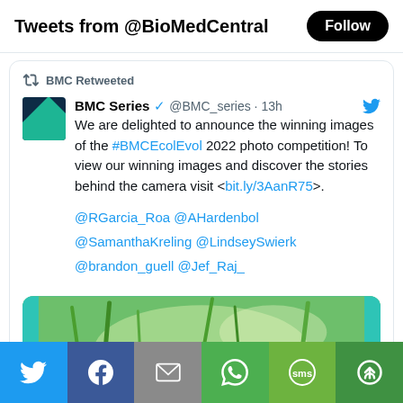Tweets from @BioMedCentral
BMC Retweeted
BMC Series @BMC_series · 13h
We are delighted to announce the winning images of the #BMCEcolEvol 2022 photo competition! To view our winning images and discover the stories behind the camera visit <bit.ly/3AanR75>.

@RGarcia_Roa @AHardenbol @SamanthaKreling @LindseySwierk @brandon_guell @Jef_Raj_
[Figure (photo): Thumbnail of a butterfly on green grass with a play button overlay, inside a green-bordered card]
[Figure (infographic): Social share bar with Twitter, Facebook, Email, WhatsApp, SMS, and Share buttons]